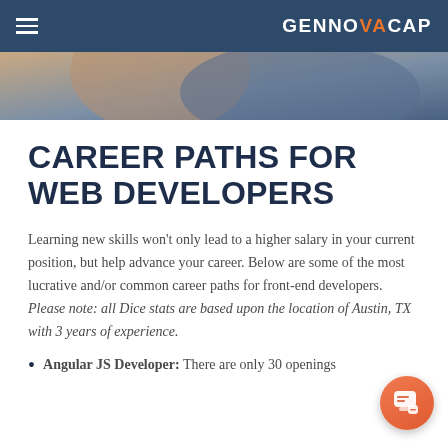GENNOVACAP
[Figure (photo): Partial view of a person at a desk, blurred background in blue-grey tones]
CAREER PATHS FOR WEB DEVELOPERS
Learning new skills won't only lead to a higher salary in your current position, but help advance your career. Below are some of the most lucrative and/or common career paths for front-end developers. Please note: all Dice stats are based upon the location of Austin, TX with 3 years of experience.
Angular JS Developer: There are only 30 openings